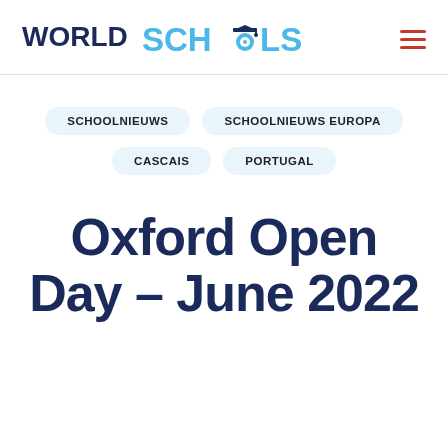WORLD SCHOOLS
SCHOOLNIEUWS
SCHOOLNIEUWS EUROPA
CASCAIS
PORTUGAL
Oxford Open Day – June 2022